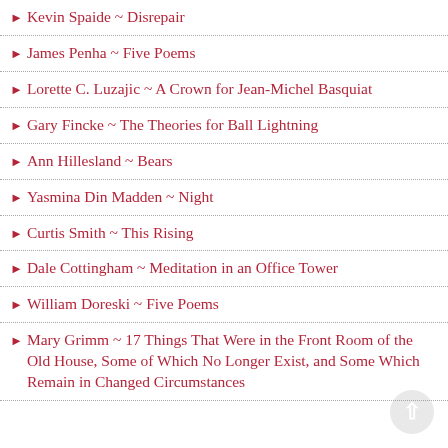Kevin Spaide ~ Disrepair
James Penha ~ Five Poems
Lorette C. Luzajic ~ A Crown for Jean-Michel Basquiat
Gary Fincke ~ The Theories for Ball Lightning
Ann Hillesland ~ Bears
Yasmina Din Madden ~ Night
Curtis Smith ~ This Rising
Dale Cottingham ~ Meditation in an Office Tower
William Doreski ~ Five Poems
Mary Grimm ~ 17 Things That Were in the Front Room of the Old House, Some of Which No Longer Exist, and Some Which Remain in Changed Circumstances